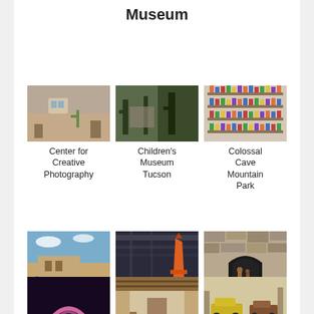Museum
[Figure (photo): Exterior of Center for Creative Photography building]
Center for Creative Photography
[Figure (photo): Children's museum exhibit with plants and cacti]
Children's Museum Tucson
[Figure (photo): Gift shop shelves with merchandise at Colossal Cave Mountain Park]
Colossal Cave Mountain Park
[Figure (photo): Outdoor courtyard at DeGrazia Gallery in the Sun]
DeGrazia Gallery in the Sun
[Figure (photo): Orange rocket or missile at Dorothy H Finley Space Gallery]
Dorothy H Finley Space Gallery
[Figure (photo): Stone arch entrance at El Tiradito Wishing Shrine]
EL TIRADITO WISHING SHRINE
[Figure (photo): Pink and purple light display]
[Figure (photo): Adobe interior room]
[Figure (photo): Antique vehicles on display]